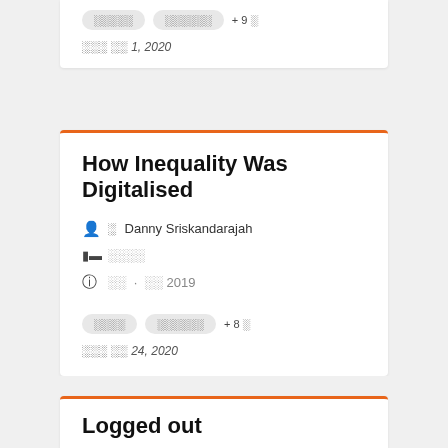░░░░░  ░░░░░░  + 9 ░
░░░ ░░ 1, 2020
How Inequality Was Digitalised
👤 ░ Danny Sriskandarajah
░ ░░░░
ⓘ ░░  ·  ░░ 2019
░░░░  ░░░░░░  + 8 ░
░░░ ░░ 24, 2020
Logged out